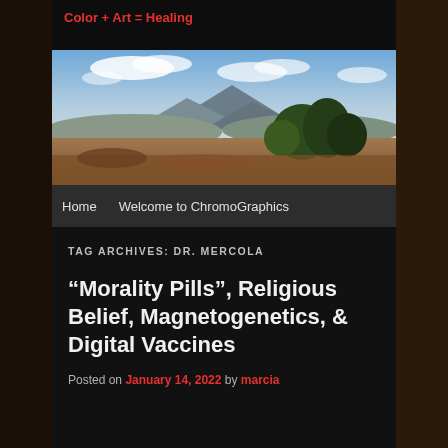Color + Art = Healing
[Figure (photo): Landscape photo showing a mountain in the background with trees in the midground and a cloudy blue sky above.]
Home   Welcome to ChromoGraphics
TAG ARCHIVES: DR. MERCOLA
“Morality Pills”, Religious Belief, Magnetogenetics, & Digital Vaccines
Posted on January 14, 2022 by marcia